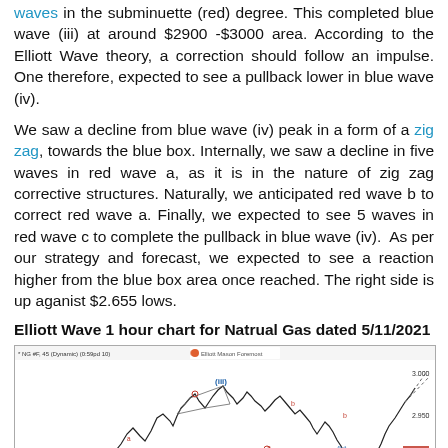waves in the subminuette (red) degree. This completed blue wave (iii) at around $2900 -$3000 area. According to the Elliott Wave theory, a correction should follow an impulse. One therefore, expected to see a pullback lower in blue wave (iv).
We saw a decline from blue wave (iv) peak in a form of a zig zag, towards the blue box. Internally, we saw a decline in five waves in red wave a, as it is in the nature of zig zag corrective structures. Naturally, we anticipated red wave b to correct red wave a. Finally, we expected to see 5 waves in red wave c to complete the pullback in blue wave (iv). As per our strategy and forecast, we expected to see a reaction higher from the blue box area once reached. The right side is up aganist $2.655 lows.
Elliott Wave 1 hour chart for Natrual Gas dated 5/11/2021
[Figure (continuous-plot): Elliott Wave 1 hour chart for Natural Gas (NG #F, 45 Dynamic, 0:59pd 10) dated 5/11/2021, showing price action with wave labels including blue wave (iii), red wave a, b, c, blue wave (iv) marked on chart. A blue shaded box in lower right area marks the blue box support zone. Price range approximately $2.850 to $3.000. Dashed lines showing projections upward. Chart header: Elliott Mason Foremost.]